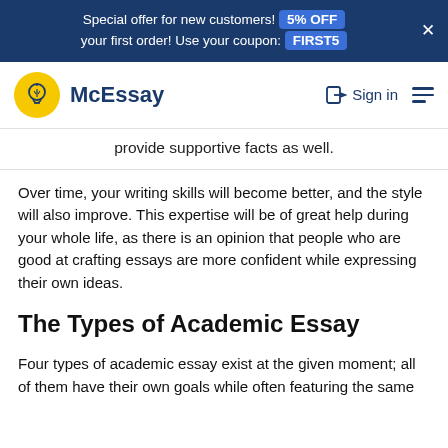Special offer for new customers! 5% OFF your first order! Use your coupon: FIRST5
[Figure (logo): McEssay logo: yellow circle with lightbulb icon, text McEssay in dark blue]
provide supportive facts as well.
Over time, your writing skills will become better, and the style will also improve. This expertise will be of great help during your whole life, as there is an opinion that people who are good at crafting essays are more confident while expressing their own ideas.
The Types of Academic Essay
Four types of academic essay exist at the given moment; all of them have their own goals while often featuring the same